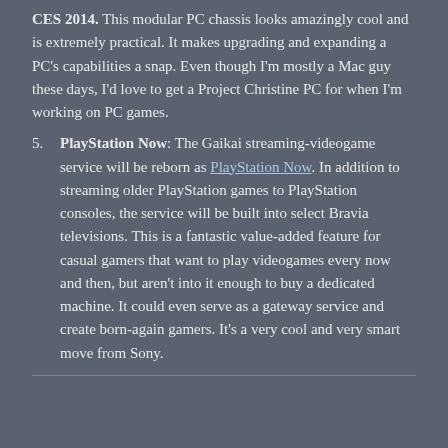CES 2014. This modular PC chassis looks amazingly cool and is extremely practical. It makes upgrading and expanding a PC's capabilities a snap. Even though I'm mostly a Mac guy these days, I'd love to get a Project Christine PC for when I'm working on PC games.
5. PlayStation Now: The Gaikai streaming-videogame service will be reborn as PlayStation Now. In addition to streaming older PlayStation games to PlayStation consoles, the service will be built into select Bravia televisions. This is a fantastic value-added feature for casual gamers that want to play videogames every now and then, but aren't into it enough to buy a dedicated machine. It could even serve as a gateway service and create born-again gamers. It's a very cool and very smart move from Sony.
...